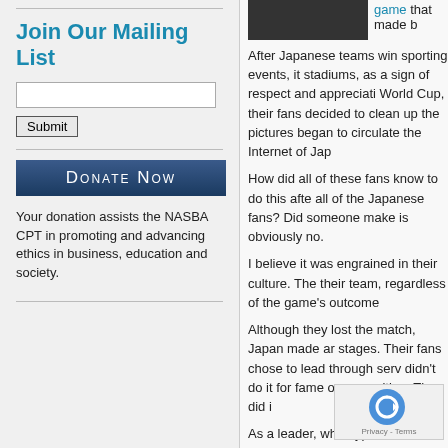Join Our Mailing List
Submit
[Figure (other): Donate Now button - dark blue button with white small-caps text]
Your donation assists the NASBA CPT in promoting and advancing ethics in business, education and society.
[Figure (photo): Dark image of a person in a tie, partially visible at top of right column]
game that made b
After Japanese teams win sporting events, it stadiums, as a sign of respect and appreciati World Cup, their fans decided to clean up the pictures began to circulate the Internet of Jap
How did all of these fans know to do this afte all of the Japanese fans? Did someone make is obviously no.
I believe it was engrained in their culture. The their team, regardless of the game's outcome
Although they lost the match, Japan made ar stages. Their fans chose to lead through serv didn't do it for fame or recognition. They did i
As a leader, what type of culture are you crea your brand and what you represent? Are they that ethics do matter?
You don't have to clean a stadium to make a fans to clean will help you and your team sta
Always remember, Leadership b
– Ryan W. Hirsch
Program Manager, NASBA Cen